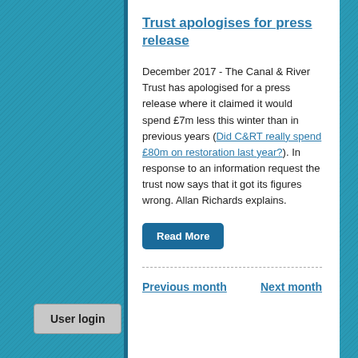Trust apologises for press release
December 2017 - The Canal & River Trust has apologised for a press release where it claimed it would spend £7m less this winter than in previous years (Did C&RT really spend £80m on restoration last year?). In response to an information request the trust now says that it got its figures wrong. Allan Richards explains.
Read More
Previous month
Next month
User login